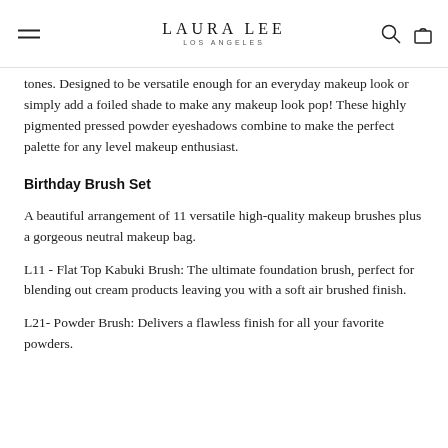LAURA LEE LOS ANGELES
tones. Designed to be versatile enough for an everyday makeup look or simply add a foiled shade to make any makeup look pop! These highly pigmented pressed powder eyeshadows combine to make the perfect palette for any level makeup enthusiast.
Birthday Brush Set
A beautiful arrangement of 11 versatile high-quality makeup brushes plus a gorgeous neutral makeup bag.
L11 - Flat Top Kabuki Brush: The ultimate foundation brush, perfect for blending out cream products leaving you with a soft air brushed finish.
L21- Powder Brush: Delivers a flawless finish for all your favorite powders.